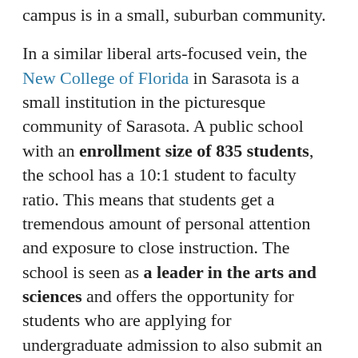campus is in a small, suburban community.
In a similar liberal arts-focused vein, the New College of Florida in Sarasota is a small institution in the picturesque community of Sarasota. A public school with an enrollment size of 835 students, the school has a 10:1 student to faculty ratio. This means that students get a tremendous amount of personal attention and exposure to close instruction. The school is seen as a leader in the arts and sciences and offers the opportunity for students who are applying for undergraduate admission to also submit an application for graduate school.
Rollins College, located in the beautiful Winter Park area of Florida, is one of the best liberal arts